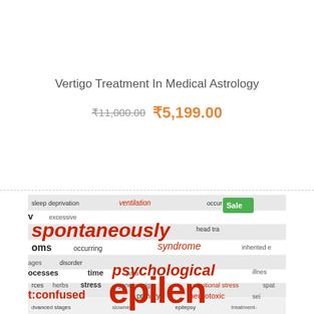Vertigo Treatment In Medical Astrology
₹11,000.00 ₹5,199.00
[Figure (photo): Newspaper clipping word collage image related to medical/neurological conditions including words: spontaneously, sleep deprivation, ventilation, syndrome, psychological, confused, primary, neurotoxic, stress, genetic origin, time, epilepsy. A green 'Sale' badge is visible in the top right corner of the image.]